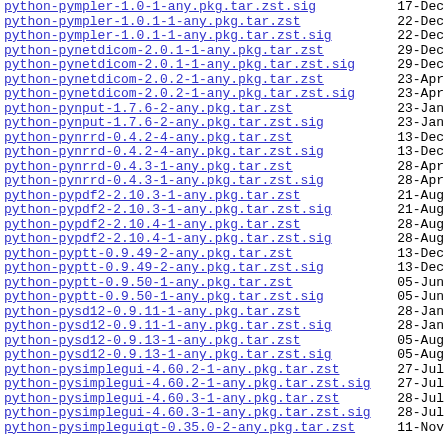python-pympler-1.0-1-any.pkg.tar.zst.sig  17-Dec
python-pympler-1.0.1-1-any.pkg.tar.zst  22-Dec
python-pympler-1.0.1-1-any.pkg.tar.zst.sig  22-Dec
python-pynetdicom-2.0.1-1-any.pkg.tar.zst  29-Dec
python-pynetdicom-2.0.1-1-any.pkg.tar.zst.sig  29-Dec
python-pynetdicom-2.0.2-1-any.pkg.tar.zst  23-Apr
python-pynetdicom-2.0.2-1-any.pkg.tar.zst.sig  23-Apr
python-pynput-1.7.6-2-any.pkg.tar.zst  23-Jan
python-pynput-1.7.6-2-any.pkg.tar.zst.sig  23-Jan
python-pynrrd-0.4.2-4-any.pkg.tar.zst  13-Dec
python-pynrrd-0.4.2-4-any.pkg.tar.zst.sig  13-Dec
python-pynrrd-0.4.3-1-any.pkg.tar.zst  28-Apr
python-pynrrd-0.4.3-1-any.pkg.tar.zst.sig  28-Apr
python-pypdf2-2.10.3-1-any.pkg.tar.zst  21-Aug
python-pypdf2-2.10.3-1-any.pkg.tar.zst.sig  21-Aug
python-pypdf2-2.10.4-1-any.pkg.tar.zst  28-Aug
python-pypdf2-2.10.4-1-any.pkg.tar.zst.sig  28-Aug
python-pyptt-0.9.49-2-any.pkg.tar.zst  13-Dec
python-pyptt-0.9.49-2-any.pkg.tar.zst.sig  13-Dec
python-pyptt-0.9.50-1-any.pkg.tar.zst  05-Jun
python-pyptt-0.9.50-1-any.pkg.tar.zst.sig  05-Jun
python-pysd12-0.9.11-1-any.pkg.tar.zst  28-Jan
python-pysd12-0.9.11-1-any.pkg.tar.zst.sig  28-Jan
python-pysd12-0.9.13-1-any.pkg.tar.zst  05-Aug
python-pysd12-0.9.13-1-any.pkg.tar.zst.sig  05-Aug
python-pysimplegui-4.60.2-1-any.pkg.tar.zst  27-Jul
python-pysimplegui-4.60.2-1-any.pkg.tar.zst.sig  27-Jul
python-pysimplegui-4.60.3-1-any.pkg.tar.zst  28-Jul
python-pysimplegui-4.60.3-1-any.pkg.tar.zst.sig  28-Jul
python-pysimpleguiqt-0.35.0-2-any.pkg.tar.zst  11-Nov